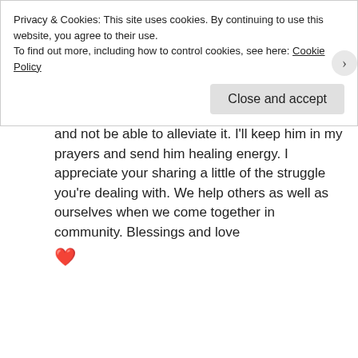[Figure (photo): Small square avatar photo of Tina Frisco]
★ Tina Frisco
JANUARY 25, 2017 AT 3:38 AM
Thank you so much for the encouragement, Robbie. Sorry to hear about little Michael. It's so difficult for parents to watch their baby suffer and not be able to alleviate it. I'll keep him in my prayers and send him healing energy. I appreciate your sharing a little of the struggle you're dealing with. We help others as well as ourselves when we come together in community. Blessings and love 💗
Privacy & Cookies: This site uses cookies. By continuing to use this website, you agree to their use.
To find out more, including how to control cookies, see here: Cookie Policy
Close and accept